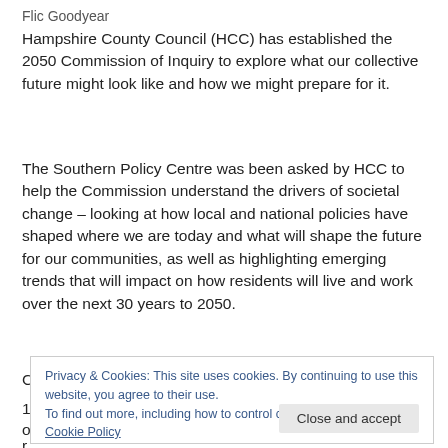Flic Goodyear
Hampshire County Council (HCC) has established the 2050 Commission of Inquiry to explore what our collective future might look like and how we might prepare for it.
The Southern Policy Centre was been asked by HCC to help the Commission understand the drivers of societal change – looking at how local and national policies have shaped where we are today and what will shape the future for our communities, as well as highlighting emerging trends that will impact on how residents will live and work over the next 30 years to 2050.
Privacy & Cookies: This site uses cookies. By continuing to use this website, you agree to their use. To find out more, including how to control cookies, see here: Cookie Policy Close and accept